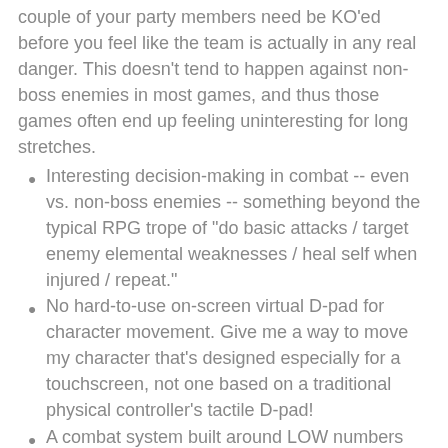couple of your party members need be KO'ed before you feel like the team is actually in any real danger. This doesn't tend to happen against non-boss enemies in most games, and thus those games often end up feeling uninteresting for long stretches.
Interesting decision-making in combat -- even vs. non-boss enemies -- something beyond the typical RPG trope of "do basic attacks / target enemy elemental weaknesses / heal self when injured / repeat."
No hard-to-use on-screen virtual D-pad for character movement. Give me a way to move my character that's designed especially for a touchscreen, not one based on a traditional physical controller's tactile D-pad!
A combat system built around LOW numbers and visible enemy HP / stats, so I can calculate that if, for example, that enemy has 9 HP left, then I can perfectly finish it off by doing my 4 and 5 HP...